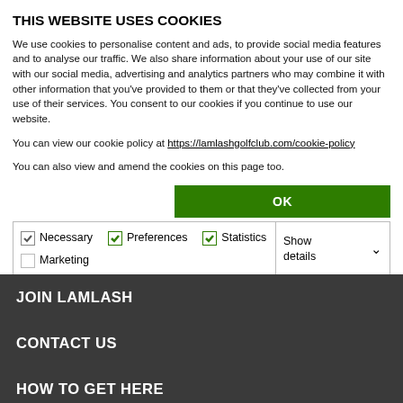THIS WEBSITE USES COOKIES
We use cookies to personalise content and ads, to provide social media features and to analyse our traffic. We also share information about your use of our site with our social media, advertising and analytics partners who may combine it with other information that you've provided to them or that they've collected from your use of their services. You consent to our cookies if you continue to use our website.
You can view our cookie policy at https://lamlashgolfclub.com/cookie-policy
You can also view and amend the cookies on this page too.
| Checkboxes | Show details |
| --- | --- |
| Necessary | Preferences | Statistics | Marketing | Show details |
JOIN LAMLASH
CONTACT US
HOW TO GET HERE